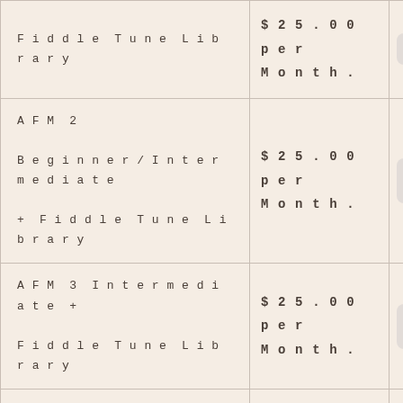| Product | Price | Action |
| --- | --- | --- |
| Fiddle Tune Library | $25.00 per Month | Select |
| AFM 2 Beginner/Intermediate + Fiddle Tune Library | $25.00 per Month | Select |
| AFM 3 Intermediate + Fiddle Tune Library | $25.00 per Month | Select |
| Scottish 1 + Fiddle Tune Library | $25.00 per Month | Select |
| Scottish 2 + Fiddle Tune Library | $25.00 per Month | Select |